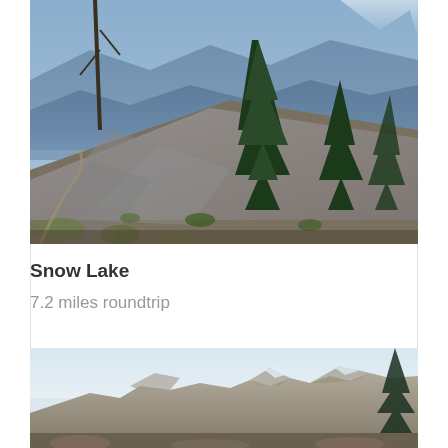[Figure (photo): Landscape photo of a mountain hiking trail with tall evergreen trees, rocky scree slope, and distant blue mountain ranges under a clear sky.]
Snow Lake
7.2 miles roundtrip
[Figure (photo): Landscape photo showing rocky mountain peaks and ridgeline with an evergreen tree on the right edge, under a pale hazy sky.]